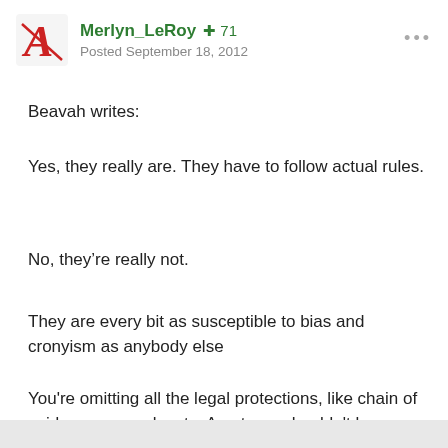Merlyn_LeRoy +71 Posted September 18, 2012
Beavah writes:
Yes, they really are. They have to follow actual rules.
No, they’re really not.
They are every bit as susceptible to bias and cronyism as anybody else
You're omitting all the legal protections, like chain of evidence, appeals, etc. Amateurs shouldn't be making arbitrary judgements over possible felonies like child rape. Duh.